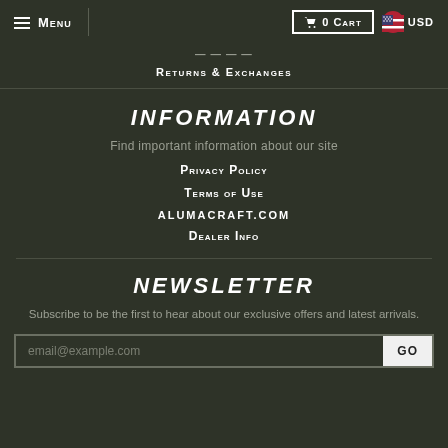Menu | 0 Cart | USD
Returns & Exchanges
INFORMATION
Find important information about our site
Privacy Policy
Terms of Use
alumacraft.com
Dealer Info
NEWSLETTER
Subscribe to be the first to hear about our exclusive offers and latest arrivals.
email@example.com  GO